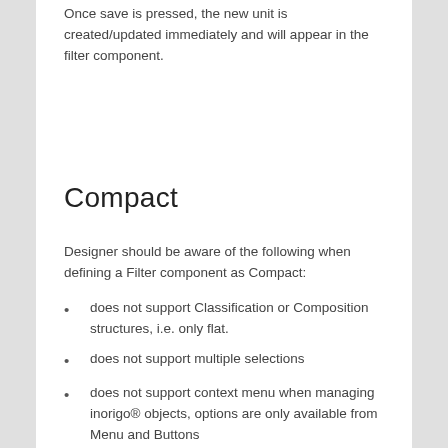Once save is pressed, the new unit is created/updated immediately and will appear in the filter component.
Compact
Designer should be aware of the following when defining a Filter component as Compact:
does not support Classification or Composition structures, i.e. only flat.
does not support multiple selections
does not support context menu when managing inorigo® objects, options are only available from Menu and Buttons